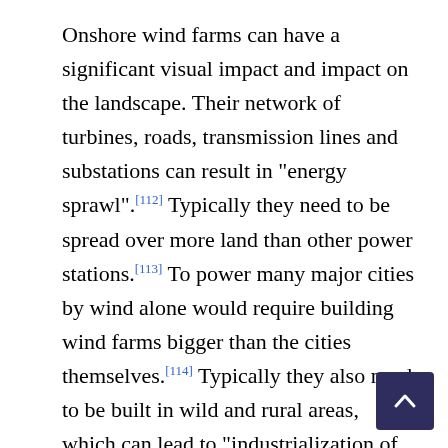Onshore wind farms can have a significant visual impact and impact on the landscape. Their network of turbines, roads, transmission lines and substations can result in "energy sprawl".[112] Typically they need to be spread over more land than other power stations.[113] To power many major cities by wind alone would require building wind farms bigger than the cities themselves.[114] Typically they also need to be built in wild and rural areas, which can lead to "industrialization of the countryside".[115] Some wind farms are opposed for potentially spoiling protected scenic areas, archaeological landscapes and heritage sites.[116][117][118] A report by the Mountaineering Council of Scotland concluded that wind farms have a negative impact on tourism in areas known